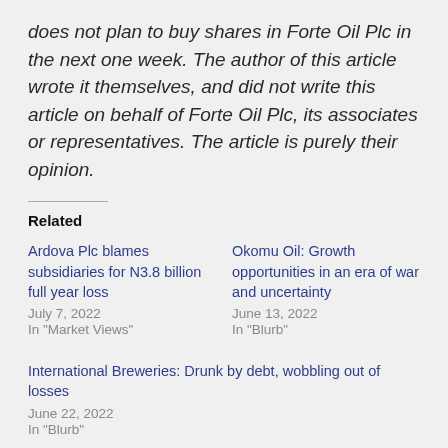does not plan to buy shares in Forte Oil Plc in the next one week. The author of this article wrote it themselves, and did not write this article on behalf of Forte Oil Plc, its associates or representatives. The article is purely their opinion.
Related
Ardova Plc blames subsidiaries for N3.8 billion full year loss
July 7, 2022
In "Market Views"
Okomu Oil: Growth opportunities in an era of war and uncertainty
June 13, 2022
In "Blurb"
International Breweries: Drunk by debt, wobbling out of losses
June 22, 2022
In "Blurb"